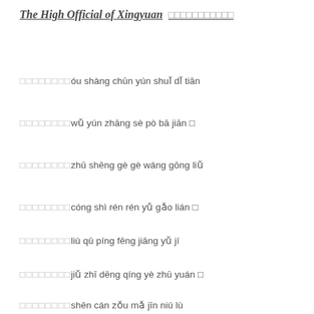The High Official of Xingyuan  □□□□□□□□□□□
□□□□□□□□óu shàng chūn yún shuǐ dǐ tiān
□□□□□□□□wǔ yún zhāng sè pò bā jiān □
□□□□□□□□zhū shēng gè gè wáng gōng liǔ
□□□□□□□□cóng shì rén rén yǔ gǎo lián □
□□□□□□□□liù qū píng fēng jiāng yǔ jí
□□□□□□□□jiǔ zhī dēng qíng yè zhū yuán □
□□□□□□□□shēn cán zǒu mǎ jīn niú lù